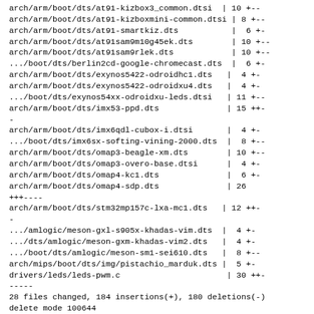arch/arm/boot/dts/at91-kizbox3_common.dtsi | 10 +--
 arch/arm/boot/dts/at91-kizboxmini-common.dtsi | 8 +--
 arch/arm/boot/dts/at91-smartkiz.dts | 6 +-
 arch/arm/boot/dts/at91sam9m10g45ek.dts | 10 +--
 arch/arm/boot/dts/at91sam9rlek.dts | 10 +--
 .../boot/dts/berlin2cd-google-chromecast.dts | 6 +-
 arch/arm/boot/dts/exynos5422-odroidhc1.dts | 4 +-
 arch/arm/boot/dts/exynos5422-odroidxu4.dts | 4 +-
 .../boot/dts/exynos54xx-odroidxu-leds.dtsi | 11 +--
 arch/arm/boot/dts/imx53-ppd.dts | 15 ++-
 -
 arch/arm/boot/dts/imx6qdl-cubox-i.dtsi | 4 +-
 .../boot/dts/imx6sx-softing-vining-2000.dts | 8 +--
 arch/arm/boot/dts/omap3-beagle-xm.dts | 10 +--
 arch/arm/boot/dts/omap3-overo-base.dtsi | 4 +-
 arch/arm/boot/dts/omap4-kc1.dts | 6 +-
 arch/arm/boot/dts/omap4-sdp.dts | 26
 +++----
 arch/arm/boot/dts/stm32mp157c-lxa-mc1.dts | 12 ++-
 -
 .../amlogic/meson-gxl-s905x-khadas-vim.dts | 4 +-
 .../dts/amlogic/meson-gxm-khadas-vim2.dts | 4 +-
 .../boot/dts/amlogic/meson-sm1-sei610.dts | 8 +--
 arch/mips/boot/dts/img/pistachio_marduk.dts | 5 +-
 drivers/leds/leds-pwm.c | 30 ++-
 -----
 28 files changed, 184 insertions(+), 180 deletions(-)
 delete mode 100644
Documentation/devicetree/bindings/leds/leds-pwm.txt
 create mode 100644